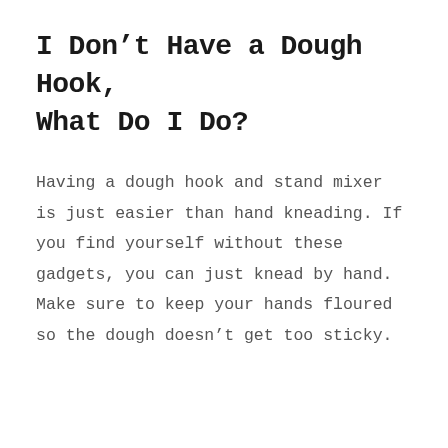I Don't Have a Dough Hook, What Do I Do?
Having a dough hook and stand mixer is just easier than hand kneading. If you find yourself without these gadgets, you can just knead by hand. Make sure to keep your hands floured so the dough doesn't get too sticky.